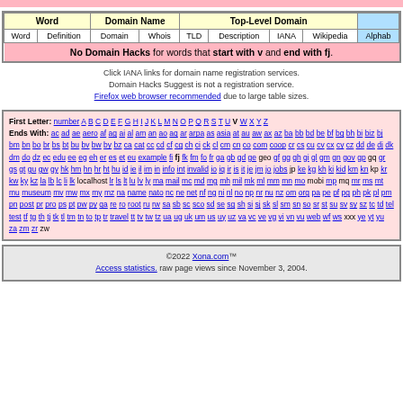| Word | Definition | Domain | Whois | TLD | Description | IANA | Wikipedia | Alphab |
| --- | --- | --- | --- | --- | --- | --- | --- | --- |
No Domain Hacks for words that start with v and end with fj.
Click IANA links for domain name registration services. Domain Hacks Suggest is not a registration service. Firefox web browser recommended due to large table sizes.
First Letter: number A B C D E F G H I J K L M N O P Q R S T U V W X Y Z Ends With: ac ad ae aero af ag ai al am an ao aq ar arpa as asia at au aw ax az ba bb bd be bf bg bh bi biz bj bm bn bo br bs bt bu bv bw by bz ca cat cc cd cf cg ch ci ck cl cm cn co com coop cr cs cu cv cx cy cz dd de dj dk dm do dz ec edu ee eg eh er es et eu example fi fj fk fm fo fr ga gb gd ge geo gf gg gh gi gl gm gn gov gp gq gr gs gt gu gw gy hk hm hn hr ht hu id ie il im in info int invalid io iq ir is it je jm jo jobs jp ke kg kh ki kid km kn kp kr kw ky kz la lb lc li lk localhost lr ls lt lu lv ly ma mail mc md mg mh mil mk ml mm mn mo mobi mp mq mr ms mt mu museum mv mw mx my mz na name nato nc ne net nf ng ni nl no np nr nu nz om org pa pe pf pg ph pk pl pm pn post pr pro ps pt pw py qa re ro root ru rw sa sb sc sco sd se sg sh si sj sk sl sm sn so sr st su sv sy sz tc td tel test tf tg th tj tk tl tm tn to tp tr travel tt tv tw tz ua ug uk um us uy uz va vc ve vg vi vn vu web wf ws xxx ye yt yu za zm zr zw
©2022 Xona.com™ Access statistics. raw page views since November 3, 2004.